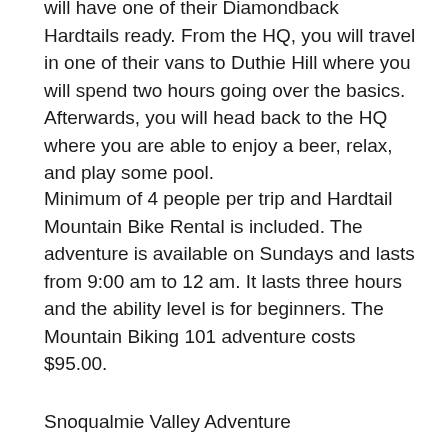will have one of their Diamondback Hardtails ready. From the HQ, you will travel in one of their vans to Duthie Hill where you will spend two hours going over the basics. Afterwards, you will head back to the HQ where you are able to enjoy a beer, relax, and play some pool.
Minimum of 4 people per trip and Hardtail Mountain Bike Rental is included. The adventure is available on Sundays and lasts from 9:00 am to 12 am. It lasts three hours and the ability level is for beginners. The Mountain Biking 101 adventure costs $95.00.
Snoqualmie Valley Adventure